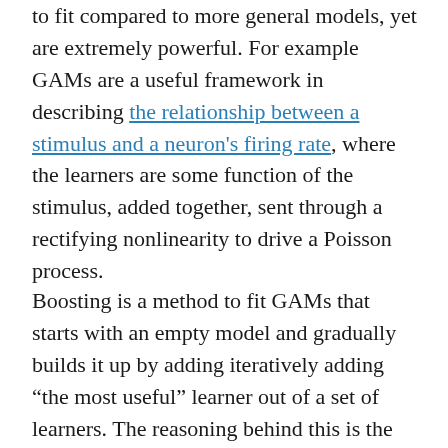to fit compared to more general models, yet are extremely powerful. For example GAMs are a useful framework in describing the relationship between a stimulus and a neuron's firing rate, where the learners are some function of the stimulus, added together, sent through a rectifying nonlinearity to drive a Poisson process.
Boosting is a method to fit GAMs that starts with an empty model and gradually builds it up by adding iteratively adding “the most useful” learner out of a set of learners. The reasoning behind this is the following. Call your “internal response” eta_n (n is an index, the n’th observation). Call your